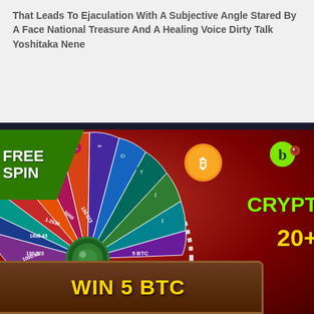That Leads To Ejaculation With A Subjective Angle Stared By A Face National Treasure And A Healing Voice Dirty Talk Yoshitaka Nene
[Figure (advertisement): Casino advertisement banner showing a spinning fortune wheel with cryptocurrency prizes. Green 'FREE SPIN' banner on top left. Wheel shows various values including 1.2536, 5000, 1600.43, 1000.43, 130.523, 5 BTC. Large gold text 'WIN 5 BTC' on brown banner at bottom. Right side shows 'CRYPT' in green and '20+' in yellow. Bitcoin coin graphic and partial logo visible on right.]